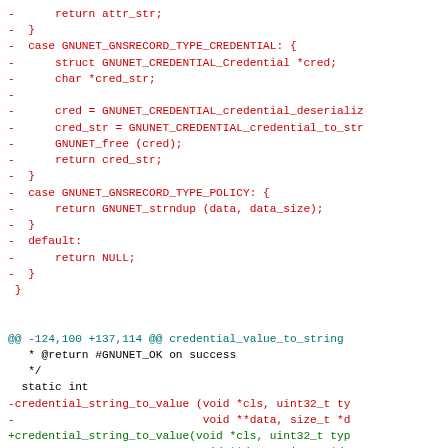Diff code snippet showing changes to GNUnet credential/policy record type handling and credential_string_to_value function signature